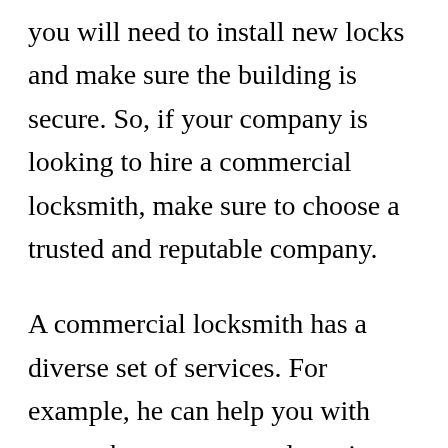you will need to install new locks and make sure the building is secure. So, if your company is looking to hire a commercial locksmith, make sure to choose a trusted and reputable company.
A commercial locksmith has a diverse set of services. For example, he can help you with master key systems and repair locks on your business premises. He can also install locks on your business premises. A commercial locksmith is able to provide maintenance and